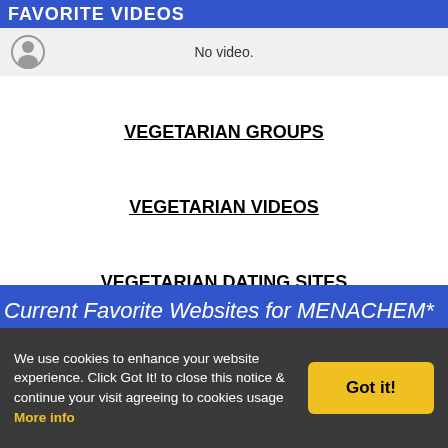FAVORITE VIDEOS
No video.
VEGETARIAN GROUPS
VEGETARIAN VIDEOS
VEGETARIAN DATING SITES
VEGETARIAN CHAT
Current Favorite Websites for MENACHEM*
No Favorite Websites added yet.
Favorites / Friends for MENACHEM
We use cookies to enhance your website experience. Click Got It! to close this notice & continue your visit agreeing to cookies usage More info